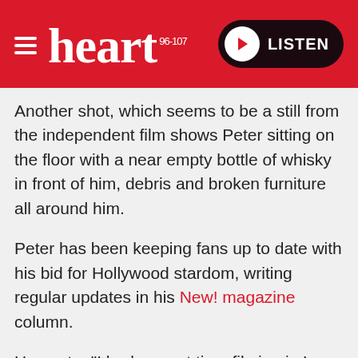heart 96-107 | LISTEN
Another shot, which seems to be a still from the independent film shows Peter sitting on the floor with a near empty bottle of whisky in front of him, debris and broken furniture all around him.
Peter has been keeping fans up to date with his bid for Hollywood stardom, writing regular updates in his New! magazine column.
He wrote: "I had a great time filming in Los Angeles. "I've got the acting bug. Although it can be full-on, I can honestly say shooting was an incredible experience. It was intense and very dark. I can't wait to see the edit."
Read more: